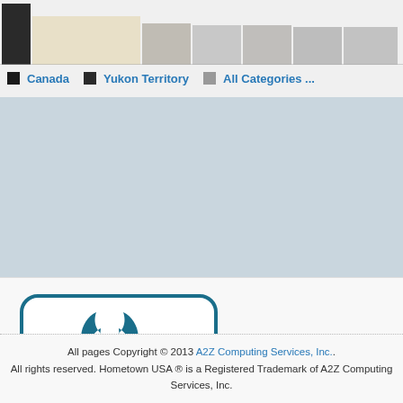[Figure (bar-chart): Chart with Canada, Yukon Territory, All Categories legend]
Canada  Yukon Territory  All Categories ...
[Figure (other): Blue/grey advertisement banner area]
[Figure (logo): BBB Accredited Business logo seal with torch flame icon]
All pages Copyright © 2013 A2Z Computing Services, Inc.. All rights reserved. Hometown USA ® is a Registered Trademark of A2Z Computing Services, Inc.